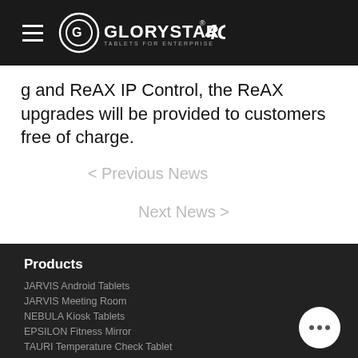GLORYSTAR 4G — site navigation header
g and ReAX IP Control, the ReAX upgrades will be provided to customers free of charge.
< Previous News
Next News >
Products
JARVIS Android Tablets
JARVIS Meeting Room
NEBULA Kiosk Tablets
EPSILON Fitness Mirror
TAURI Temperature Check Tablet
ULTRON Windows Tablets